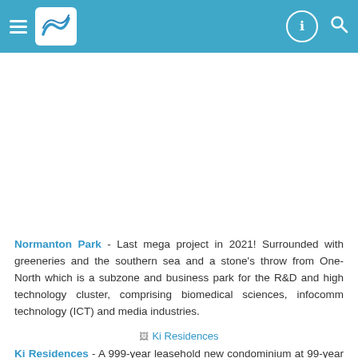Navigation header with hamburger menu, logo, info icon, and search icon
[Figure (illustration): Large white/blank image area below the header]
Normanton Park - Last mega project in 2021! Surrounded with greeneries and the southern sea and a stone's throw from One-North which is a subzone and business park for the R&D and high technology cluster, comprising biomedical sciences, infocomm technology (ICT) and media industries.
[Figure (photo): Broken image placeholder labeled 'Ki Residences']
Ki Residences - A 999-year leasehold new condominium at 99-year leasehold prices. Located at a quiet and serene Sunset Way